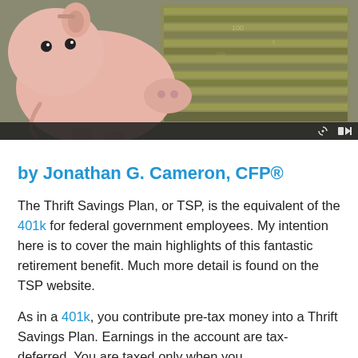[Figure (photo): Photo of a pink piggy bank on top of stacks of US dollar bills, with a video player control bar at the bottom.]
by Jonathan G. Cameron, CFP®
The Thrift Savings Plan, or TSP, is the equivalent of the 401k for federal government employees. My intention here is to cover the main highlights of this fantastic retirement benefit. Much more detail is found on the TSP website.
As in a 401k, you contribute pre-tax money into a Thrift Savings Plan. Earnings in the account are tax-deferred. You are taxed only when you